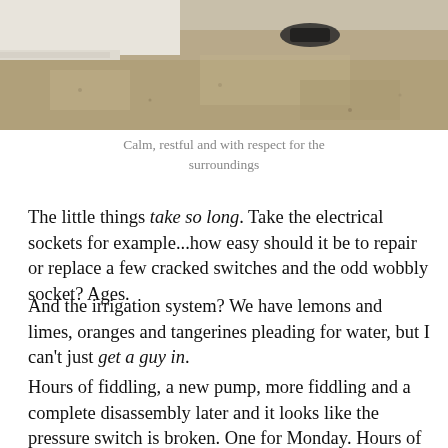[Figure (photo): Outdoor gravel ground with white wall base and some dark object visible, calm and restful exterior scene]
Calm, restful and with respect for the surroundings
The little things take so long. Take the electrical sockets for example...how easy should it be to repair or replace a few cracked switches and the odd wobbly socket? Ages.
And the irrigation system? We have lemons and limes, oranges and tangerines pleading for water, but I can't just get a guy in.
Hours of fiddling, a new pump, more fiddling and a complete disassembly later and it looks like the pressure switch is broken. One for Monday. Hours of my life I will never get back.